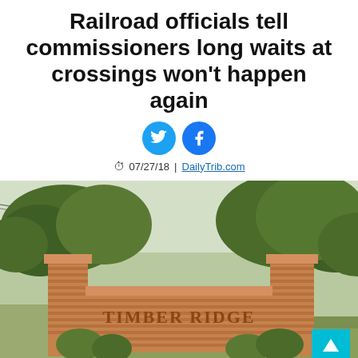Railroad officials tell commissioners long waits at crossings won't happen again
[Figure (other): Twitter and Facebook social share icons (blue circles)]
07/27/18 | DailyTrib.com
[Figure (photo): Outdoor photo of a brick entrance sign reading 'TIMBER RIDGE' surrounded by trees and greenery]